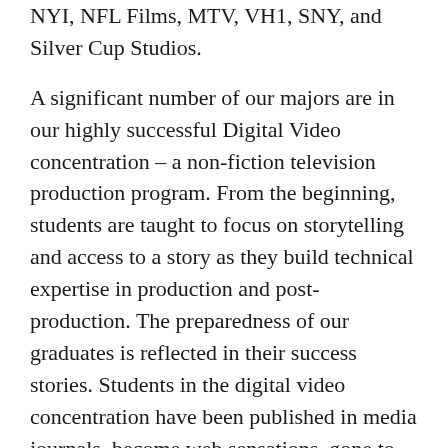NYI, NFL Films, MTV, VH1, SNY, and Silver Cup Studios.
A significant number of our majors are in our highly successful Digital Video concentration – a non-fiction television production program. From the beginning, students are taught to focus on storytelling and access to a story as they build technical expertise in production and post-production. The preparedness of our graduates is reflected in their success stories. Students in the digital video concentration have been published in media journals, become web sensations, gone to graduate school, work in film, television, news and more.